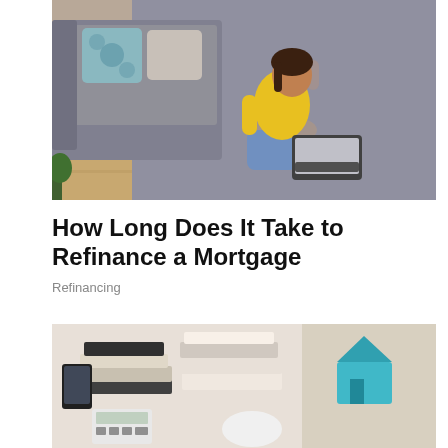[Figure (photo): Overhead view of a woman in a yellow shirt sitting on the floor against a grey sofa, using a laptop, with a grey carpet and decorative pillows visible]
How Long Does It Take to Refinance a Mortgage
Refinancing
[Figure (photo): Close-up of stacks of books and notebooks on a desk with a small turquoise house model and a calculator visible]